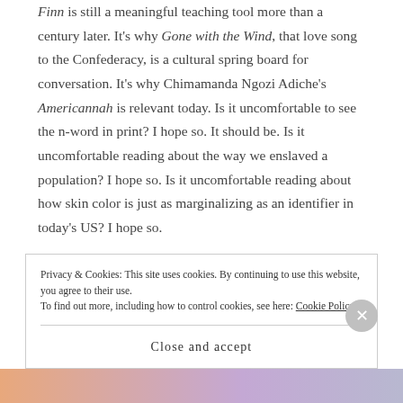Finn is still a meaningful teaching tool more than a century later. It's why Gone with the Wind, that love song to the Confederacy, is a cultural spring board for conversation. It's why Chimamanda Ngozi Adiche's Americannah is relevant today. Is it uncomfortable to see the n-word in print? I hope so. It should be. Is it uncomfortable reading about the way we enslaved a population? I hope so. Is it uncomfortable reading about how skin color is just as marginalizing as an identifier in today's US? I hope so.
Trying to ban those books from classrooms and shelves is not going to make the past disappear. It's not going to
Privacy & Cookies: This site uses cookies. By continuing to use this website, you agree to their use. To find out more, including how to control cookies, see here: Cookie Policy
Close and accept